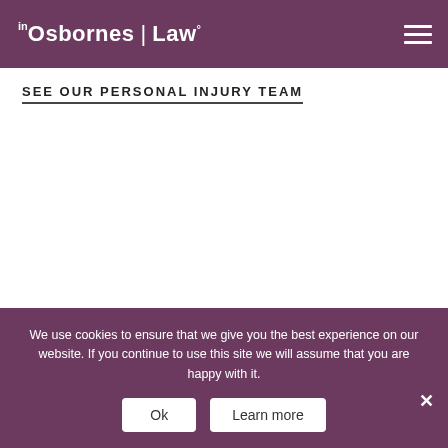Osbornes Law
SEE OUR PERSONAL INJURY TEAM
[Figure (photo): Blank white content area representing a personal injury team section]
“A niche firm that punches well above
We use cookies to ensure that we give you the best experience on our website. If you continue to use this site we will assume that you are happy with it.